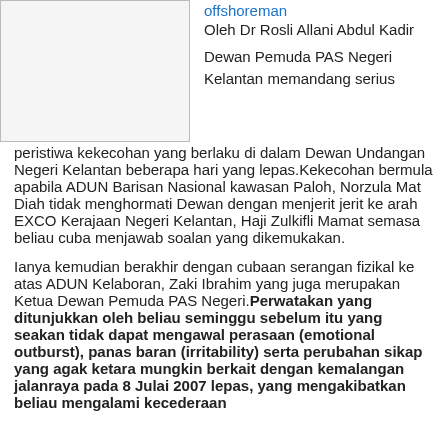[Figure (photo): Image placeholder / photo on the left side of the top section]
offshoreman
Oleh Dr Rosli Allani Abdul Kadir
Dewan Pemuda PAS Negeri Kelantan memandang serius peristiwa kekecohan yang berlaku di dalam Dewan Undangan Negeri Kelantan beberapa hari yang lepas.Kekecohan bermula apabila ADUN Barisan Nasional kawasan Paloh, Norzula Mat Diah tidak menghormati Dewan dengan menjerit jerit ke arah EXCO Kerajaan Negeri Kelantan, Haji Zulkifli Mamat semasa beliau cuba menjawab soalan yang dikemukakan.
Ianya kemudian berakhir dengan cubaan serangan fizikal ke atas ADUN Kelaboran, Zaki Ibrahim yang juga merupakan Ketua Dewan Pemuda PAS Negeri.Perwatakan yang ditunjukkan oleh beliau seminggu sebelum itu yang seakan tidak dapat mengawal perasaan (emotional outburst), panas baran (irritability) serta perubahan sikap yang agak ketara mungkin berkait dengan kemalangan jalanraya pada 8 Julai 2007 lepas, yang mengakibatkan beliau mengalami kecederaan